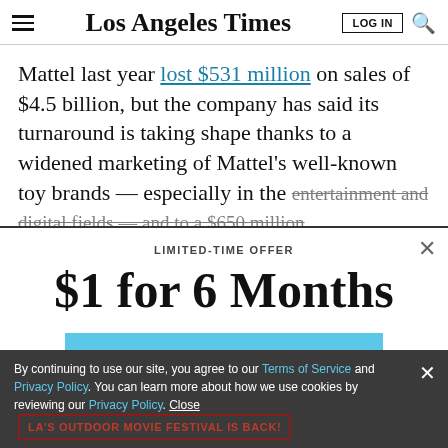Los Angeles Times
Mattel last year lost $531 million on sales of $4.5 billion, but the company has said its turnaround is taking shape thanks to a widened marketing of Mattel’s well-known toy brands — especially in the entertainment and digital fields — and to a $650 million
LIMITED-TIME OFFER
$1 for 6 Months
SUBSCRIBE NOW
By continuing to use our site, you agree to our Terms of Service and Privacy Policy. You can learn more about how we use cookies by reviewing our Privacy Policy. Close
LA'S OUTDOOR MOVIE FESTIVAL IS BACK!